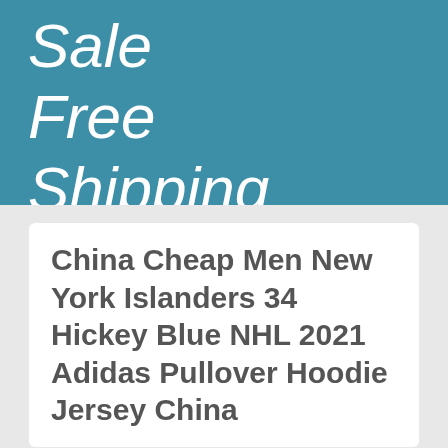Sale Free Shipping
China Cheap Men New York Islanders 34 Hickey Blue NHL 2021 Adidas Pullover Hoodie Jersey China